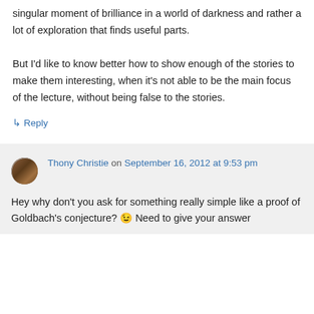singular moment of brilliance in a world of darkness and rather a lot of exploration that finds useful parts.

But I'd like to know better how to show enough of the stories to make them interesting, when it's not able to be the main focus of the lecture, without being false to the stories.
↳ Reply
Thony Christie on September 16, 2012 at 9:53 pm
Hey why don't you ask for something really simple like a proof of Goldbach's conjecture? 😉 Need to give your answer